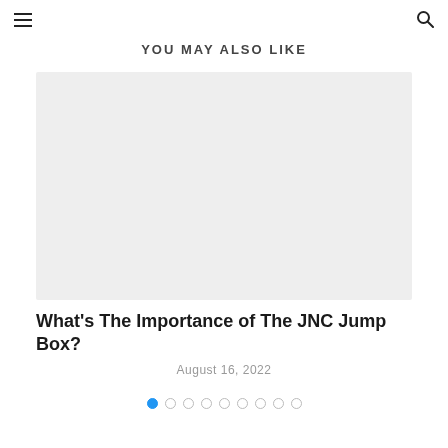≡  🔍
YOU MAY ALSO LIKE
[Figure (photo): Placeholder image with light gray background representing an article thumbnail]
What's The Importance of The JNC Jump Box?
August 16, 2022